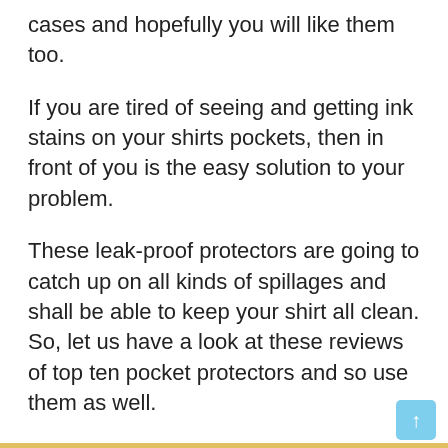cases and hopefully you will like them too.
If you are tired of seeing and getting ink stains on your shirts pockets, then in front of you is the easy solution to your problem.
These leak-proof protectors are going to catch up on all kinds of spillages and shall be able to keep your shirt all clean. So, let us have a look at these reviews of top ten pocket protectors and so use them as well.